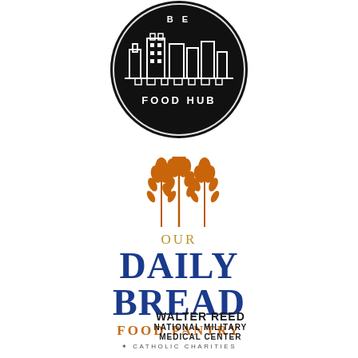[Figure (logo): Circular black logo with building/cityscape design and text 'FOOD HUB' around the border]
[Figure (logo): Our Daily Bread Food Pantry logo with wheat stalks graphic, text 'OUR DAILY BREAD FOOD PANTRY' and 'CATHOLIC CHARITIES' below]
[Figure (logo): Walter Reed National Military Medical Center text logo]